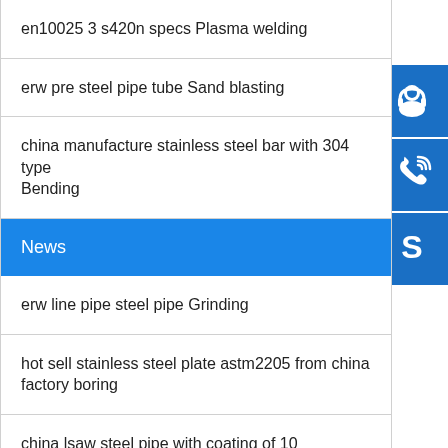en10025 3 s420n specs Plasma welding
erw pre steel pipe tube Sand blasting
china manufacture stainless steel bar with 304 type Bending
News
erw line pipe steel pipe Grinding
hot sell stainless steel plate astm2205 from china factory boring
china lsaw steel pipe with coating of 10 @b2bniner Beveling